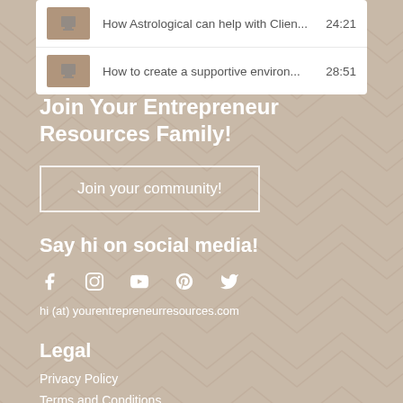How Astrological can help with Clien...  24:21
How to create a supportive environ...  28:51
Join Your Entrepreneur Resources Family!
Join your community!
Say hi on social media!
hi (at) yourentrepreneurresources.com
Legal
Privacy Policy
Terms and Conditions